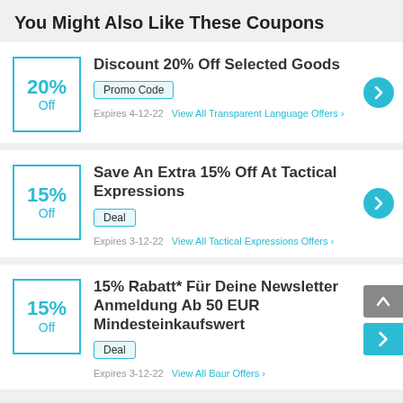You Might Also Like These Coupons
Discount 20% Off Selected Goods | 20% Off | Promo Code | Expires 4-12-22 | View All Transparent Language Offers
Save An Extra 15% Off At Tactical Expressions | 15% Off | Deal | Expires 3-12-22 | View All Tactical Expressions Offers
15% Rabatt* Für Deine Newsletter Anmeldung Ab 50 EUR Mindesteinkaufswert | 15% Off | Deal | Expires 3-12-22 | View All Baur Offers